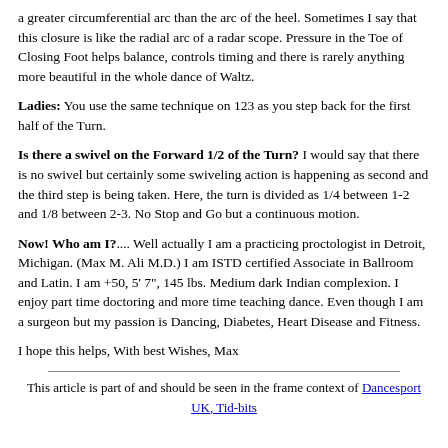a greater circumferential arc than the arc of the heel. Sometimes I say that this closure is like the radial arc of a radar scope. Pressure in the Toe of Closing Foot helps balance, controls timing and there is rarely anything more beautiful in the whole dance of Waltz.
Ladies: You use the same technique on 123 as you step back for the first half of the Turn.
Is there a swivel on the Forward 1/2 of the Turn? I would say that there is no swivel but certainly some swiveling action is happening as second and the third step is being taken. Here, the turn is divided as 1/4 between 1-2 and 1/8 between 2-3. No Stop and Go but a continuous motion.
Now! Who am I?.... Well actually I am a practicing proctologist in Detroit, Michigan. (Max M. Ali M.D.) I am ISTD certified Associate in Ballroom and Latin. I am +50, 5' 7", 145 lbs. Medium dark Indian complexion. I enjoy part time doctoring and more time teaching dance. Even though I am a surgeon but my passion is Dancing, Diabetes, Heart Disease and Fitness.
I hope this helps, With best Wishes, Max
This article is part of and should be seen in the frame context of Dancesport UK, Tid-bits